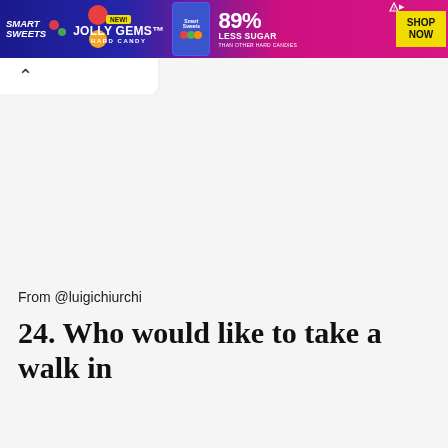[Figure (photo): Smart Sweets Jolly Gems Hard Candy advertisement banner. Blue and pink gradient background. Shows candy pieces, product bag, '89% LESS SUGAR THAN OTHER HARD CANDIES' text, and 'SHOP NOW' yellow button. 'NEW!' badge visible.]
From @luigichiurchi
24. Who would like to take a walk in